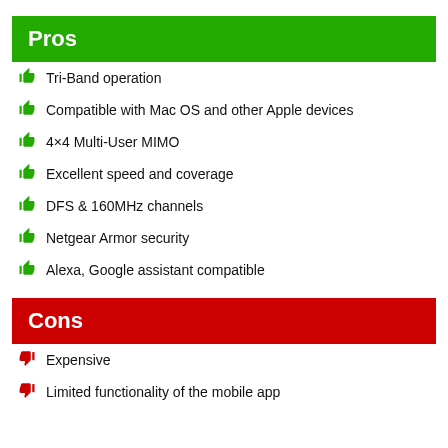Pros
Tri-Band operation
Compatible with Mac OS and other Apple devices
4×4 Multi-User MIMO
Excellent speed and coverage
DFS & 160MHz channels
Netgear Armor security
Alexa, Google assistant compatible
Cons
Expensive
Limited functionality of the mobile app